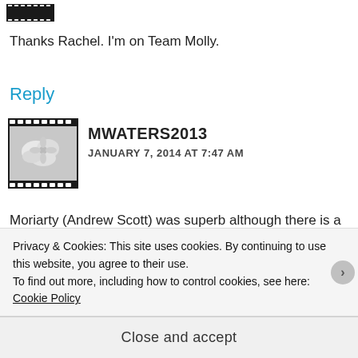[Figure (other): Film strip avatar icon at top]
Thanks Rachel. I'm on Team Molly.
Reply
[Figure (illustration): Film strip style avatar image for user MWATERS2013 showing a cloudy/floral image inside a film strip border]
MWATERS2013
JANUARY 7, 2014 AT 7:47 AM
Moriarty (Andrew Scott) was superb although there is a new big bad next week so let's see what he's like.
Privacy & Cookies: This site uses cookies. By continuing to use this website, you agree to their use.
To find out more, including how to control cookies, see here: Cookie Policy
Close and accept